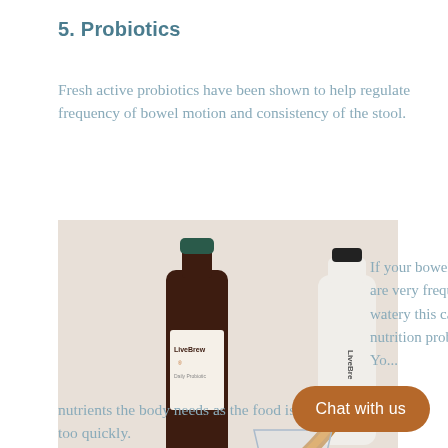5. Probiotics
Fresh active probiotics have been shown to help regulate frequency of bowel motion and consistency of the stool.
[Figure (photo): Photo of LiveBrew Daily Probiotic bottle and a glass being poured, with orange slices, on a dark surface. Website URL www.livebrew.co.nz shown at bottom.]
If your bowel motions are very frequent and  watery this can cause nutrition problems. Yo...
nutrients the body needs as the food is passing through too quickly.
Chat with us